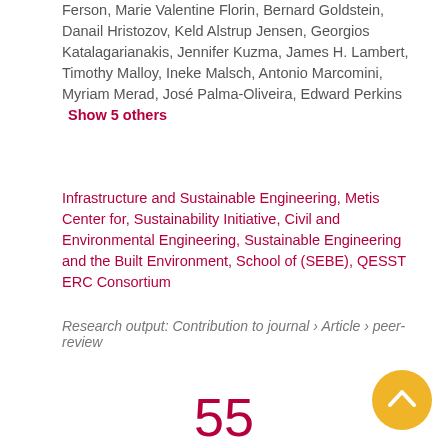Ferson, Marie Valentine Florin, Bernard Goldstein, Danail Hristozov, Keld Alstrup Jensen, Georgios Katalagarianakis, Jennifer Kuzma, James H. Lambert, Timothy Malloy, Ineke Malsch, Antonio Marcomini, Myriam Merad, José Palma-Oliveira, Edward Perkins  Show 5 others
Infrastructure and Sustainable Engineering, Metis Center for, Sustainability Initiative, Civil and Environmental Engineering, Sustainable Engineering and the Built Environment, School of (SEBE), QESST ERC Consortium
Research output: Contribution to journal › Article › peer-review
55 Scopus citations